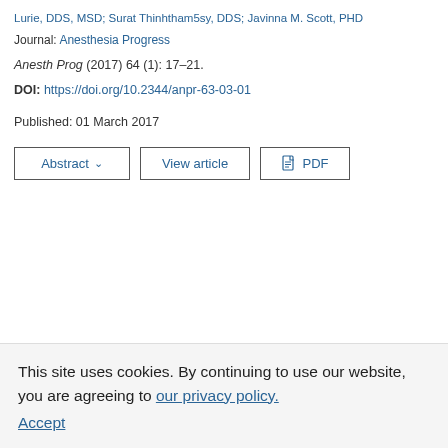Lurie, DDS, MSD; Surat Thinhtham5sy, DDS; Javinna M. Scott, PHD
Journal: Anesthesia Progress
Anesth Prog (2017) 64 (1): 17–21.
DOI: https://doi.org/10.2344/anpr-63-03-01
Published: 01 March 2017
Abstract ∨   View article   PDF
This site uses cookies. By continuing to use our website, you are agreeing to our privacy policy. Accept